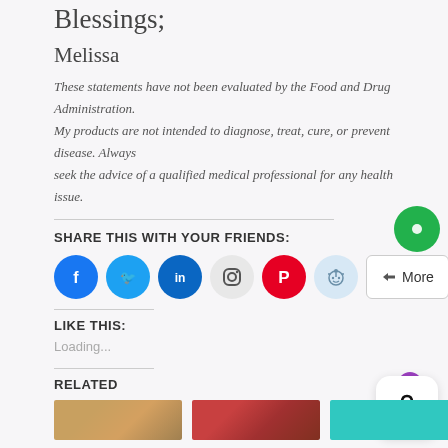Blessings;
Melissa
These statements have not been evaluated by the Food and Drug Administration. My products are not intended to diagnose, treat, cure, or prevent disease. Always seek the advice of a qualified medical professional for any health issue.
SHARE THIS WITH YOUR FRIENDS:
[Figure (infographic): Row of social media share buttons: Facebook (blue), Twitter (blue), LinkedIn (blue), Instagram (light gray), Pinterest (red), Reddit (light blue), and a More button with share icon. A green circle icon on the right.]
LIKE THIS:
Loading...
RELATED
[Figure (photo): Two small thumbnail images and one teal/cyan thumbnail image at the bottom of the page]